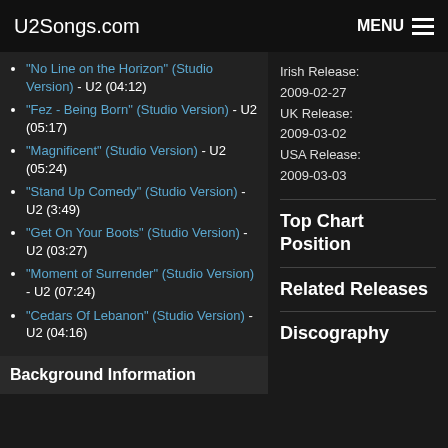U2Songs.com | MENU
"No Line on the Horizon" (Studio Version) - U2 (04:12)
"Fez - Being Born" (Studio Version) - U2 (05:17)
"Magnificent" (Studio Version) - U2 (05:24)
"Stand Up Comedy" (Studio Version) - U2 (3:49)
"Get On Your Boots" (Studio Version) - U2 (03:27)
"Moment of Surrender" (Studio Version) - U2 (07:24)
"Cedars Of Lebanon" (Studio Version) - U2 (04:16)
Background Information
Irish Release: 2009-02-27
UK Release: 2009-03-02
USA Release: 2009-03-03
Top Chart Position
Related Releases
Discography